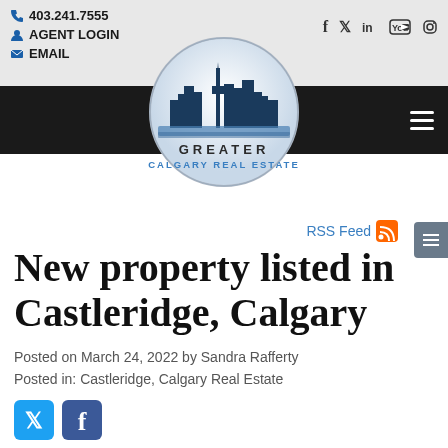403.241.7555 | AGENT LOGIN | EMAIL
[Figure (logo): Greater Calgary Real Estate circular logo with city skyline silhouette in blue and white]
New property listed in Castleridge, Calgary
Posted on March 24, 2022 by Sandra Rafferty
Posted in: Castleridge, Calgary Real Estate
[Figure (screenshot): Bottom strip showing a blue sky property photo with a green diagonal listing badge showing 'NG']